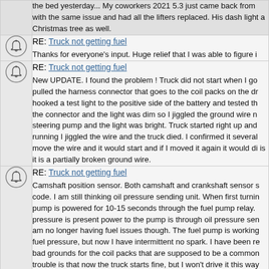the bed yesterday... My coworkers 2021 5.3 just came back from with the same issue and had all the lifters replaced. His dash light a Christmas tree as well.
RE: Truck not getting fuel
Thanks for everyone's input. Huge relief that I was able to figure i
RE: Truck not getting fuel
New UPDATE. I found the problem ! Truck did not start when I go pulled the harness connector that goes to the coil packs on the dr hooked a test light to the positive side of the battery and tested th the connector and the light was dim so I jiggled the ground wire n steering pump and the light was bright. Truck started right up and running I jiggled the wire and the truck died. I confirmed it several move the wire and it would start and if I moved it again it would di is it is a partially broken ground wire.
RE: Truck not getting fuel
Camshaft position sensor. Both camshaft and crankshaft sensor s code. I am still thinking oil pressure sending unit. When first turnin pump is powered for 10-15 seconds through the fuel pump relay. pressure is present power to the pump is through oil pressure sen am no longer having fuel issues though. The fuel pump is working fuel pressure, but now I have intermittent no spark. I have been re bad grounds for the coil packs that are supposed to be a common trouble is that now the truck starts fine, but I won't drive it this way pressure switch affect spark ?
RE: Truck not getting fuel